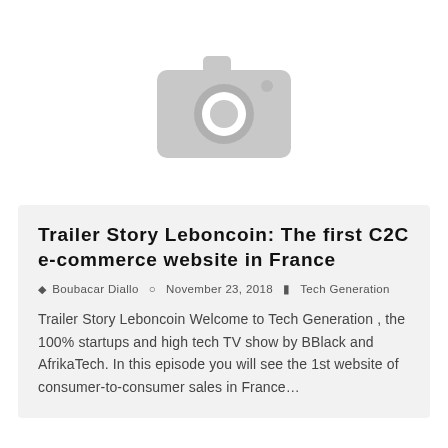[Figure (illustration): Gray placeholder camera icon on white background]
Trailer Story Leboncoin: The first C2C e-commerce website in France
Boubacar Diallo  November 23, 2018  Tech Generation
Trailer Story Leboncoin Welcome to Tech Generation , the 100% startups and high tech TV show by BBlack and AfrikaTech. In this episode you will see the 1st website of consumer-to-consumer sales in France…